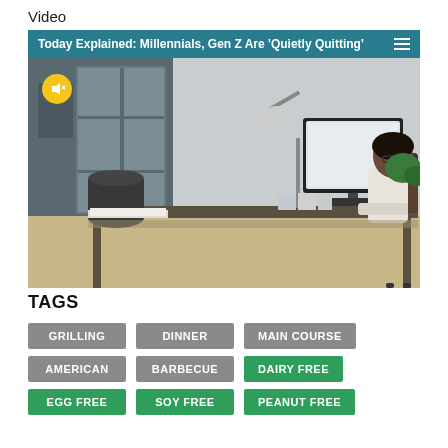Video
[Figure (screenshot): Video player showing office scene with title bar 'Today Explained: Millennials, Gen Z Are Quietly Quitting' on teal background with hamburger menu icon. Video thumbnail shows a person sitting at a desk with a computer monitor in an office setting. A muted (yellow) speaker icon is visible in the top left of the video.]
TAGS
GRILLING
DINNER
MAIN COURSE
AMERICAN
BARBECUE
DAIRY FREE
EGG FREE
SOY FREE
PEANUT FREE